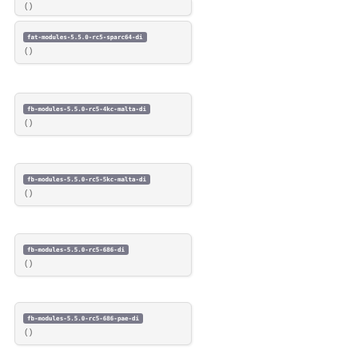fat-modules-5.5.0-rc5-sparc64-di
( )
fb-modules-5.5.0-rc5-4kc-malta-di
( )
fb-modules-5.5.0-rc5-5kc-malta-di
( )
fb-modules-5.5.0-rc5-686-di
( )
fb-modules-5.5.0-rc5-686-pae-di
( )